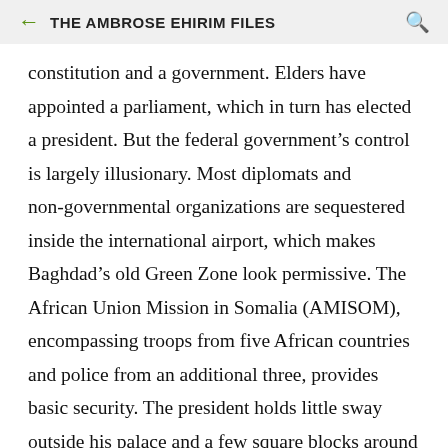THE AMBROSE EHIRIM FILES
constitution and a government. Elders have appointed a parliament, which in turn has elected a president. But the federal government’s control is largely illusionary. Most diplomats and non-governmental organizations are sequestered inside the international airport, which makes Baghdad’s old Green Zone look permissive. The African Union Mission in Somalia (AMISOM), encompassing troops from five African countries and police from an additional three, provides basic security. The president holds little sway outside his palace and a few square blocks around him, and while Al-Shabaab...